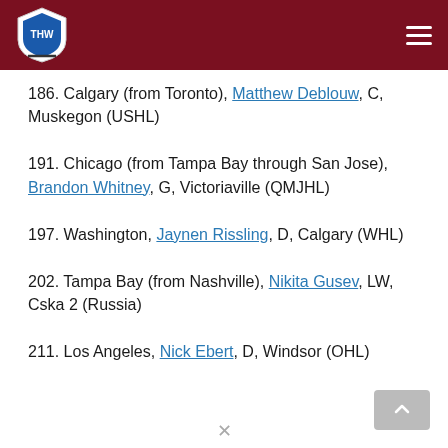THW Hockey Writers
186. Calgary (from Toronto), Matthew Deblouw, C, Muskegon (USHL)
191. Chicago (from Tampa Bay through San Jose), Brandon Whitney, G, Victoriaville (QMJHL)
197. Washington, Jaynen Rissling, D, Calgary (WHL)
202. Tampa Bay (from Nashville), Nikita Gusev, LW, Cska 2 (Russia)
211. Los Angeles, Nick Ebert, D, Windsor (OHL)